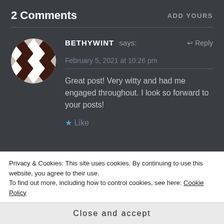2 Comments
ADD YOURS
BETHYWINT says:
February 5, 2021 at 10:26 pm
↩ Reply
Great post! Very witty and had me engaged throughout. I look so forward to your posts!
★ Like
Privacy & Cookies: This site uses cookies. By continuing to use this website, you agree to their use.
To find out more, including how to control cookies, see here: Cookie Policy
Close and accept